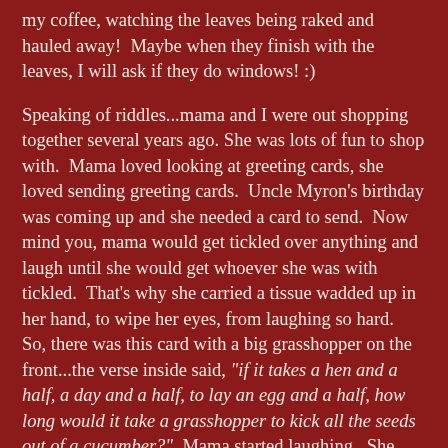my coffee, watching the leaves being raked and hauled away!  Maybe when they finish with the leaves, I will ask if they do windows! :)

Speaking of riddles...mama and I were out shopping together several years ago. She was lots of fun to shop with.  Mama loved looking at greeting cards, she loved sending greeting cards.  Uncle Myron's birthday was coming up and she needed a card to send.  Now mind you, mama would get tickled over anything and laugh until she would get whoever she was with tickled.  That's why she carried a tissue wadded up in her hand, to wipe her eyes, from laughing so hard.  So, there was this card with a big grasshopper on the front...the verse inside said, "if it takes a hen and a half, a day and a half, to lay an egg and a half, how long would it take a grasshopper to kick all the seeds out of a cucumber?"  Mama started laughing.  She laughed and laughed and laughed!  People were beginning to look at us.  She had me laughing too.  Mama bought that card and we got out of there.